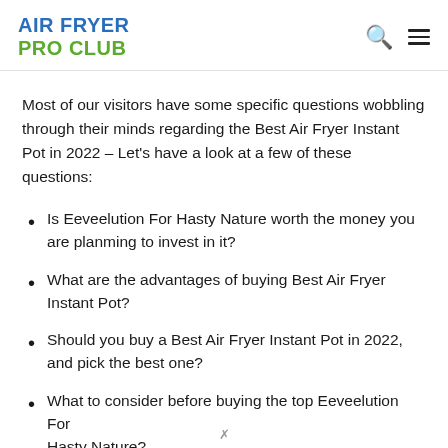AIR FRYER PRO CLUB
Most of our visitors have some specific questions wobbling through their minds regarding the Best Air Fryer Instant Pot in 2022 – Let's have a look at a few of these questions:
Is Eeveelution For Hasty Nature worth the money you are planming to invest in it?
What are the advantages of buying Best Air Fryer Instant Pot?
Should you buy a Best Air Fryer Instant Pot in 2022, and pick the best one?
What to consider before buying the top Eeveelution For Hasty Nature?